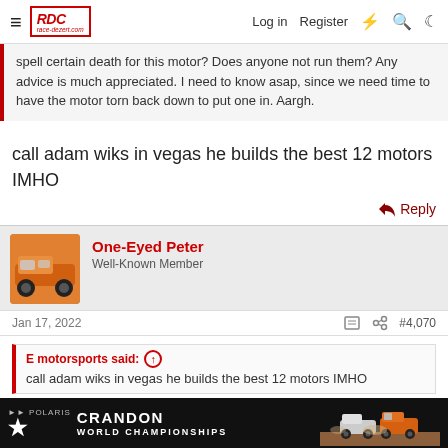race-dezert.com | Log in | Register
spell certain death for this motor? Does anyone not run them? Any advice is much appreciated. I need to know asap, since we need time to have the motor torn back down to put one in. Aargh.
call adam wiks in vegas he builds the best 12 motors IMHO
Reply
One-Eyed Peter
Well-Known Member
Jan 17, 2022  #4,070
E motorsports said:
call adam wiks in vegas he builds the best 12 motors IMHO
Copy that. Thank you 😎
[Figure (screenshot): Polaris Crandon World Championships advertisement banner at bottom of page]